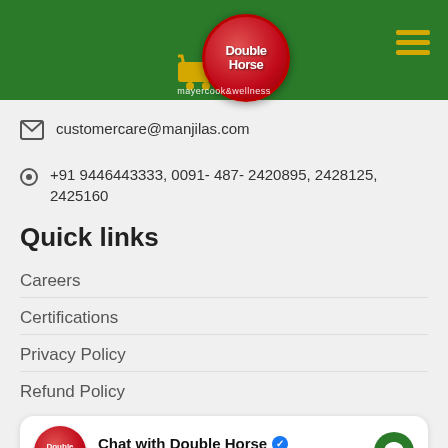[Figure (logo): Double Horse brand logo - red circular ball with white text 'Double Horse' on dark green navigation header with cart icon and hamburger menu]
customercare@manjilas.com
+91 9446443333, 0091- 487- 2420895, 2428125, 2425160
Quick links
Careers
Certifications
Privacy Policy
Refund Policy
[Figure (infographic): Chat widget with Double Horse logo, text 'Chat with Double Horse' with blue verified badge, subtitle 'Hi! How can we help you?' and green Messenger icon]
Kitchen Book